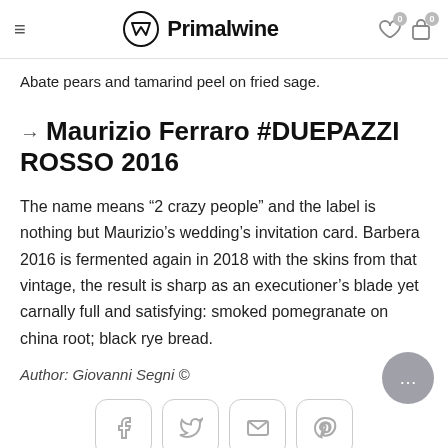Primalwine
Abate pears and tamarind peel on fried sage.
→ Maurizio Ferraro #DUEPAZZI ROSSO 2016
The name means “2 crazy people” and the label is nothing but Maurizio’s wedding’s invitation card. Barbera 2016 is fermented again in 2018 with the skins from that vintage, the result is sharp as an executioner’s blade yet carnally full and satisfying: smoked pomegranate on china root; black rye bread.
Author: Giovanni Segni ©